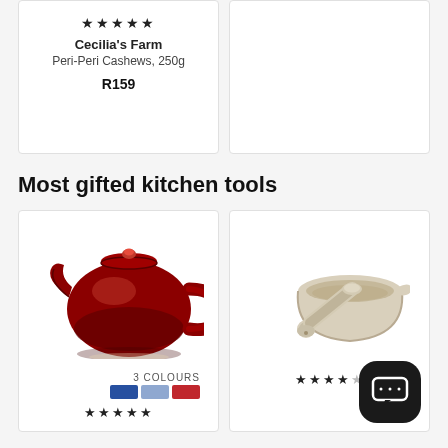[Figure (illustration): Product card for Cecilia's Farm Peri-Peri Cashews, 250g with 5 star rating and price R159]
★★★★★
Cecilia's Farm
Peri-Peri Cashews, 250g
R159
[Figure (illustration): Empty white product card placeholder on the right]
Most gifted kitchen tools
[Figure (photo): Red Le Creuset teapot with lid, shown from the side. Below it: 3 COLOURS label with blue, light blue, and red swatches, and 5 star rating.]
[Figure (photo): Cream/beige ceramic mortar and pestle. Below it: 4.5 star rating. Chat button overlay in bottom right.]